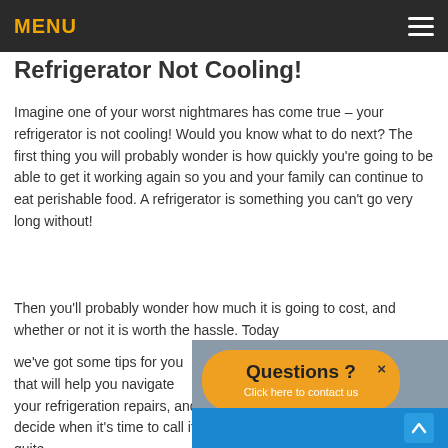MENU
Refrigerator Not Cooling!
Imagine one of your worst nightmares has come true – your refrigerator is not cooling! Would you know what to do next? The first thing you will probably wonder is how quickly you're going to be able to get it working again so you and your family can continue to eat perishable food. A refrigerator is something you can't go very long without!
Then you'll probably wonder how much it is going to cost, and whether or not it is worth the hassle. Today we've got some tips for you that will help you navigate your refrigeration repairs, and decide when it's time to call it quite
[Figure (photo): Photo of a person with an orange speech bubble overlay reading 'Questions ? Click here to contact us' with a close button, and a blue 'Leave a message' bar at the bottom.]